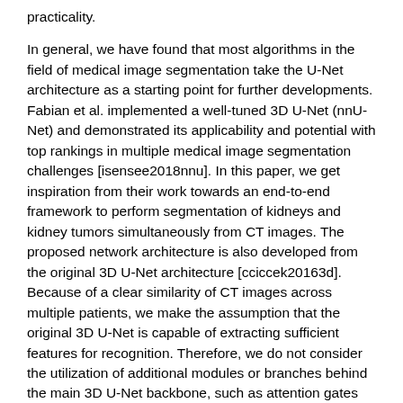practicality.
In general, we have found that most algorithms in the field of medical image segmentation take the U-Net architecture as a starting point for further developments. Fabian et al. implemented a well-tuned 3D U-Net (nnU-Net) and demonstrated its applicability and potential with top rankings in multiple medical image segmentation challenges [isensee2018nnu]. In this paper, we get inspiration from their work towards an end-to-end framework to perform segmentation of kidneys and kidney tumors simultaneously from CT images. The proposed network architecture is also developed from the original 3D U-Net architecture [cciccek20163d]. Because of a clear similarity of CT images across multiple patients, we make the assumption that the original 3D U-Net is capable of extracting sufficient features for recognition. Therefore, we do not consider the utilization of additional modules or branches behind the main 3D U-Net backbone, such as attention gates [oktay2018attention], residual modules [milletari2016v], or FPN [lin2017feature], among others. Instead, we focus on optimizing the training and enhancing the performance of the original 3D U-Net architecture.